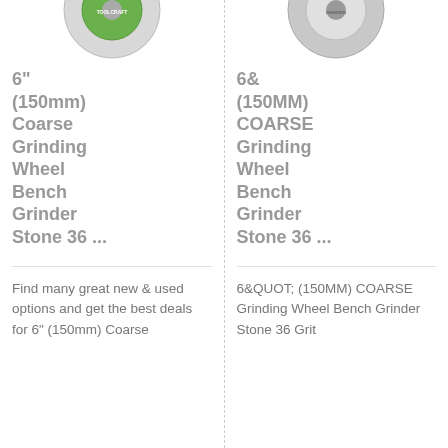[Figure (photo): Partial top of a green-labeled grinding wheel product image (left column)]
[Figure (photo): Partial top of a silver/grey grinding wheel product image (right column)]
6" (150mm) Coarse Grinding Wheel Bench Grinder Stone 36 ...
6& (150MM) COARSE Grinding Wheel Bench Grinder Stone 36 ...
Find many great new & used options and get the best deals for 6" (150mm) Coarse
6&QUOT; (150MM) COARSE Grinding Wheel Bench Grinder Stone 36 Grit